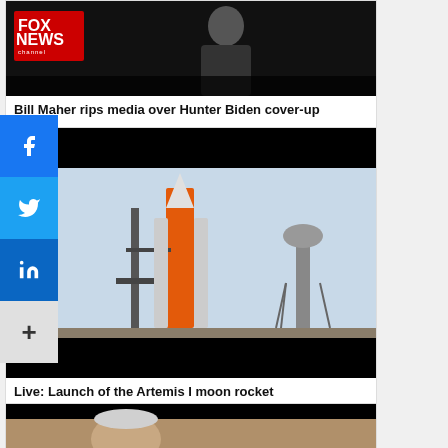[Figure (photo): Fox News channel thumbnail showing a person in dark clothing against dark background with Fox News channel logo overlay]
Bill Maher rips media over Hunter Biden cover-up
[Figure (photo): Artemis I moon rocket on launch pad with orange main stage, supporting tower structures, and water tower in background against light blue sky]
Live: Launch of the Artemis I moon rocket
[Figure (photo): Partial view of a person with grey/white hair, partially visible at bottom of page]